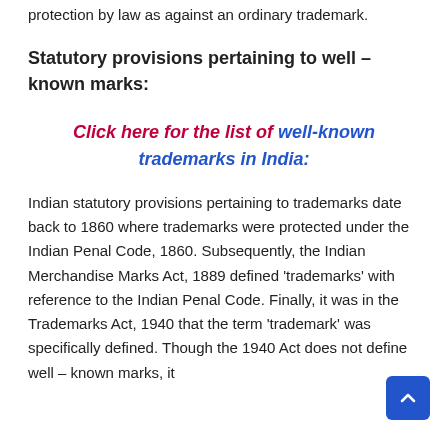protection by law as against an ordinary trademark.
Statutory provisions pertaining to well – known marks:
Click here for the list of well-known trademarks in India:
Indian statutory provisions pertaining to trademarks date back to 1860 where trademarks were protected under the Indian Penal Code, 1860. Subsequently, the Indian Merchandise Marks Act, 1889 defined 'trademarks' with reference to the Indian Penal Code. Finally, it was in the Trademarks Act, 1940 that the term 'trademark' was specifically defined. Though the 1940 Act does not define well – known marks, it